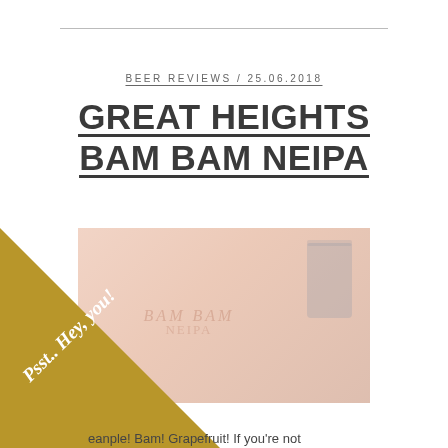BEER REVIEWS / 25.06.2018
GREAT HEIGHTS BAM BAM NEIPA
[Figure (photo): Faded photo of beer cans/bottles on a surface with warm peachy-orange background tones and a dark can visible on the right side]
[Figure (other): Gold diagonal banner in bottom-left corner with italic white text reading 'Psst.. Hey, you!']
eanple! Bam! Grapefruit! If you're not